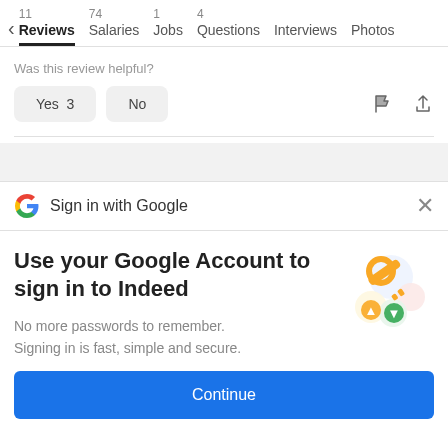11 Reviews  74 Salaries  1 Jobs  4 Questions  Interviews  Photos
Was this review helpful?
Yes 3   No
[Figure (screenshot): Sign in with Google dialog with Google G logo and X close button]
Use your Google Account to sign in to Indeed
No more passwords to remember. Signing in is fast, simple and secure.
Continue